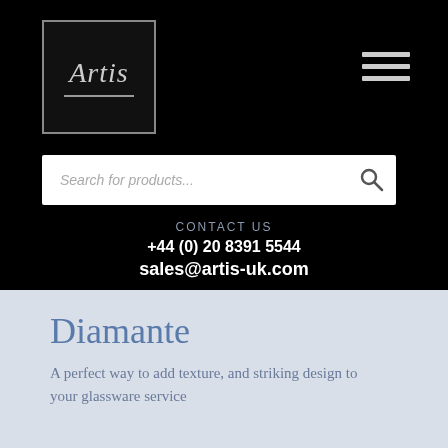[Figure (logo): Artis logo in a bordered box with italic stylized text and underline, on black background]
Search for products...
CONTACT US
+44 (0) 20 8391 5544
sales@artis-uk.com
Diamante
A perfect way to add texture, and striking design to your glassware service